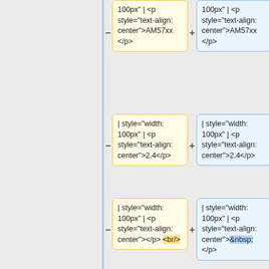[Figure (screenshot): Code diff view showing pairs of before/after code blocks. Each row shows a yellow (removed) cell on the left with a minus sign, and a blue (added) cell on the right with a plus sign. The content shows wiki table markup with style attributes. Row 1: both cells show '100px" | <p style="text-align: center">AM57xx</p>'. Row 2: both cells show '100px" | <p style="text-align: center">2.4</p>'. Row 3: left cell shows center"></p> <br/> (highlighted), right cell shows center">&nbsp;</p>. Row 4: same as row 3. Row 5 (partial): both cells show '100px" | <p'.]